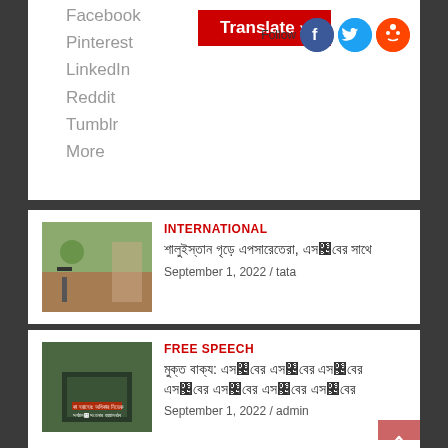Facebook
Pinterest
LinkedIn
Reddit
Tumblr
More
Translate »
Follow
INTERNATIONAL
September 1, 2022 / tata
FREE SPEECH
September 1, 2022 / admin